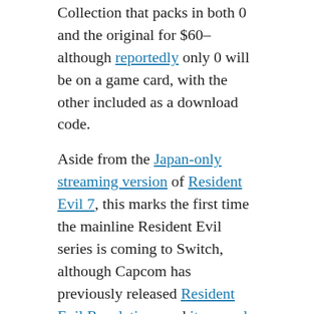Collection that packs in both 0 and the original for $60–although reportedly only 0 will be on a game card, with the other included as a download code.
Aside from the Japan-only streaming version of Resident Evil 7, this marks the first time the mainline Resident Evil series is coming to Switch, although Capcom has previously released Resident Evil Revelations and its sequel for the console. Both titles came with exclusive retro-style minigames.
28. February 2019
Pokemon Go: Legendary